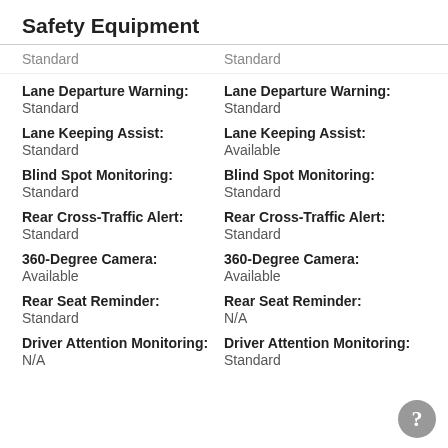Safety Equipment
Standard | Standard
Lane Departure Warning: Standard | Lane Departure Warning: Standard
Lane Keeping Assist: Standard | Lane Keeping Assist: Available
Blind Spot Monitoring: Standard | Blind Spot Monitoring: Standard
Rear Cross-Traffic Alert: Standard | Rear Cross-Traffic Alert: Standard
360-Degree Camera: Available | 360-Degree Camera: Available
Rear Seat Reminder: Standard | Rear Seat Reminder: N/A
Driver Attention Monitoring: N/A | Driver Attention Monitoring: Standard